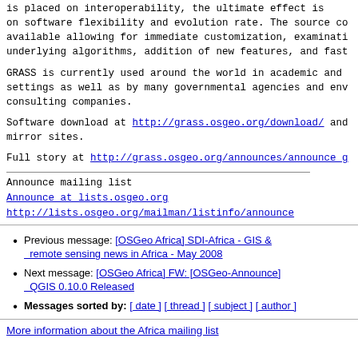is placed on interoperability, the ultimate effect is on software flexibility and evolution rate. The source code is available allowing for immediate customization, examination of underlying algorithms, addition of new features, and fast...
GRASS is currently used around the world in academic and settings as well as by many governmental agencies and env consulting companies.
Software download at http://grass.osgeo.org/download/ and mirror sites.
Full story at http://grass.osgeo.org/announces/announce_g
Announce mailing list
Announce at lists.osgeo.org
http://lists.osgeo.org/mailman/listinfo/announce
Previous message: [OSGeo Africa] SDI-Africa - GIS & remote sensing news in Africa - May 2008
Next message: [OSGeo Africa] FW: [OSGeo-Announce] QGIS 0.10.0 Released
Messages sorted by: [ date ] [ thread ] [ subject ] [ author ]
More information about the Africa mailing list